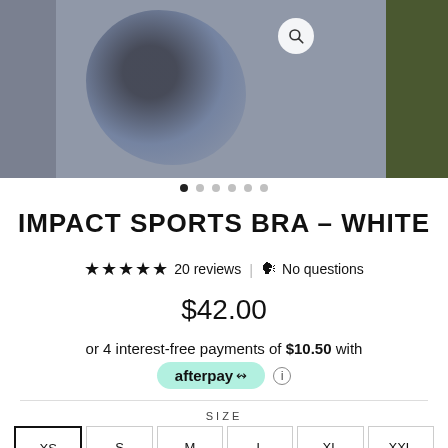[Figure (photo): Product photo strip showing a tie-dye sports bra. Three panel layout: left side panel (dark), main center image (tie-dye top), right side panel (green foliage). Search icon button visible top right.]
IMPACT SPORTS BRA – WHITE
★★★★★ 20 reviews | 🎧 No questions
$42.00
or 4 interest-free payments of $10.50 with
afterpay ⓘ
SIZE
XS  S  M  L  XL  XXL